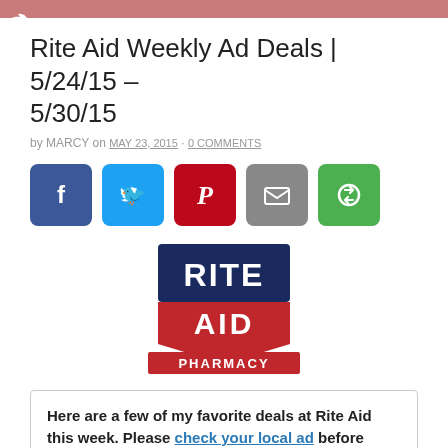Rite Aid Weekly Ad Deals | 5/24/15 – 5/30/15
by MARCY on MAY 23, 2015 · 0 COMMENTS
[Figure (infographic): Social share buttons: Facebook, Twitter, Pinterest, Email, Share (green)]
[Figure (logo): Rite Aid Pharmacy logo — navy blue rectangle with RITE in white, red shield with AID in white, red banner with PHARMACY in white]
Here are a few of my favorite deals at Rite Aid this week. Please check your local ad before shopping, as some sales and prices vary by region. View a copy of Rite Aid's Coupon Policy here.